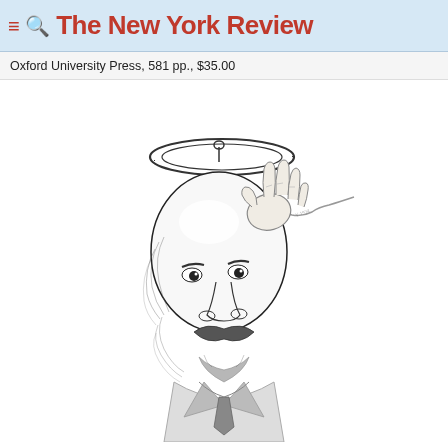The New York Review
Oxford University Press, 581 pp., $35.00
[Figure (illustration): Pen-and-ink caricature illustration of a bald, mustachioed man with a halo (depicted as a wire ring propped up by a small suction cup/stand) floating above his head. A hand reaches in from the right side to adjust or hold the halo. The man wears a formal suit and has a serious, dignified expression. The drawing style is detailed crosshatching in black and white.]